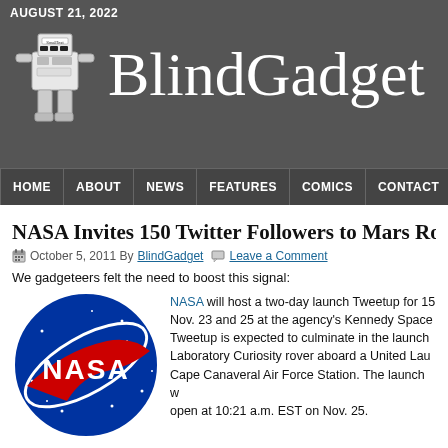AUGUST 21, 2022
BlindGadget
HOME | ABOUT | NEWS | FEATURES | COMICS | CONTACT
NASA Invites 150 Twitter Followers to Mars Ro...
October 5, 2011 By BlindGadget  Leave a Comment
We gadgeteers felt the need to boost this signal:
[Figure (logo): NASA circular logo with blue background, white NASA text, and red chevron swoosh]
NASA will host a two-day launch Tweetup for 15... Nov. 23 and 25 at the agency's Kennedy Space... Tweetup is expected to culminate in the launch... Laboratory Curiosity rover aboard a United Lau... Cape Canaveral Air Force Station. The launch w... open at 10:21 a.m. EST on Nov. 25.
The Tweetup will provide NASA's social media followers with the opportuni... Center; speak with scientists and engineers; and, if all goes as scheduled,